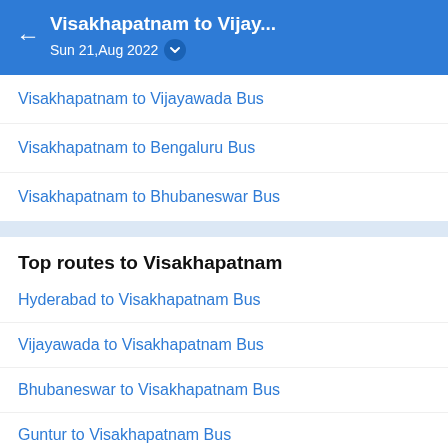Visakhapatnam to Vijay… Sun 21,Aug 2022
Visakhapatnam to Vijayawada Bus
Visakhapatnam to Bengaluru Bus
Visakhapatnam to Bhubaneswar Bus
Top routes to Visakhapatnam
Hyderabad to Visakhapatnam Bus
Vijayawada to Visakhapatnam Bus
Bhubaneswar to Visakhapatnam Bus
Guntur to Visakhapatnam Bus
Top routes to Vijayawada
Hyderabad to Vijayawada Bus